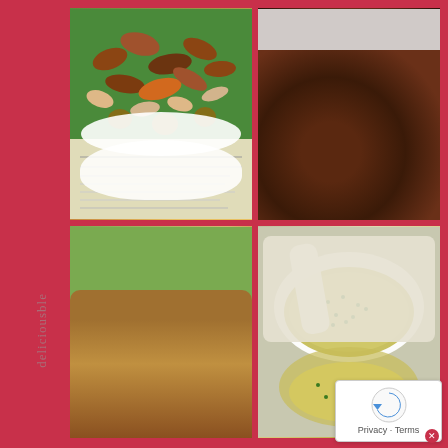[Figure (photo): 2x2 grid of food photos on a red/crimson background. Top-left: mixed nuts (pecans, peanuts, walnuts) in a white dish with a recipe card visible below. Top-right: chocolate no-bake clusters/cookies piled on a white surface. Bottom-left: snack mix with pretzels and crackers in a bowl. Bottom-right: a creamy dip or spread in a white bowl with green herbs/seasoning. A script watermark runs vertically on the left edge. A reCAPTCHA widget is overlaid in the bottom-right corner.]